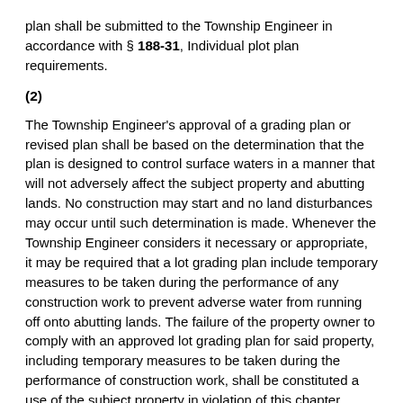plan shall be submitted to the Township Engineer in accordance with § 188-31, Individual plot plan requirements.
(2)
The Township Engineer's approval of a grading plan or revised plan shall be based on the determination that the plan is designed to control surface waters in a manner that will not adversely affect the subject property and abutting lands. No construction may start and no land disturbances may occur until such determination is made. Whenever the Township Engineer considers it necessary or appropriate, it may be required that a lot grading plan include temporary measures to be taken during the performance of any construction work to prevent adverse water from running off onto abutting lands. The failure of the property owner to comply with an approved lot grading plan for said property, including temporary measures to be taken during the performance of construction work, shall be constituted a use of the subject property in violation of this chapter.
(3)
If required by the Township Engineer, a pool as-built plan shall